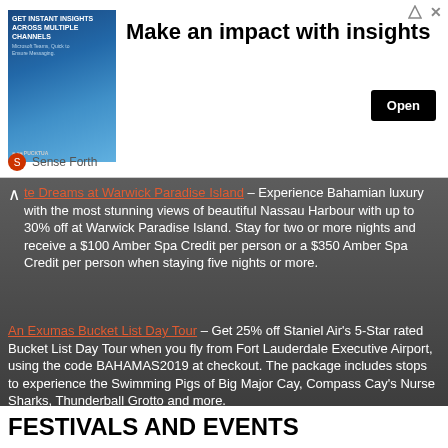[Figure (infographic): Advertisement banner: image of woman with tech overlay on left, headline 'Make an impact with insights', Open button on right, Sense Forth logo below]
te Dreams at Warwick Paradise Island – Experience Bahamian luxury with the most stunning views of beautiful Nassau Harbour with up to 30% off at Warwick Paradise Island. Stay for two or more nights and receive a $100 Amber Spa Credit per person or a $350 Amber Spa Credit per person when staying five nights or more.
An Exumas Bucket List Day Tour – Get 25% off Staniel Air's 5-Star rated Bucket List Day Tour when you fly from Fort Lauderdale Executive Airport, using the code BAHAMAS2019 at checkout. The package includes stops to experience the Swimming Pigs of Big Major Cay, Compass Cay's Nurse Sharks, Thunderball Grotto and more.
FESTIVALS AND EVENTS